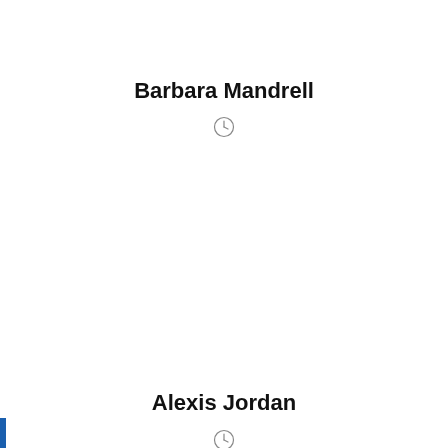Barbara Mandrell
[Figure (other): Clock/time icon below Barbara Mandrell]
Alexis Jordan
[Figure (other): Clock/time icon below Alexis Jordan]